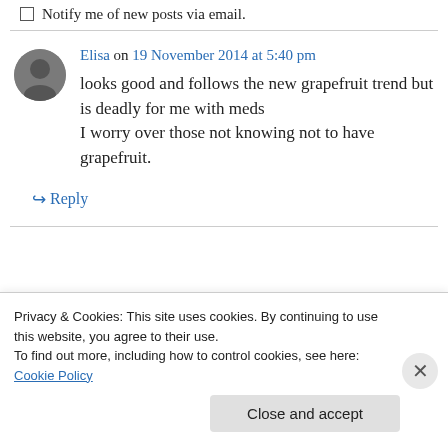Notify me of new posts via email.
Elisa on 19 November 2014 at 5:40 pm

looks good and follows the new grapefruit trend but is deadly for me with meds
I worry over those not knowing not to have grapefruit.
↪ Reply
Privacy & Cookies: This site uses cookies. By continuing to use this website, you agree to their use.
To find out more, including how to control cookies, see here: Cookie Policy
Close and accept